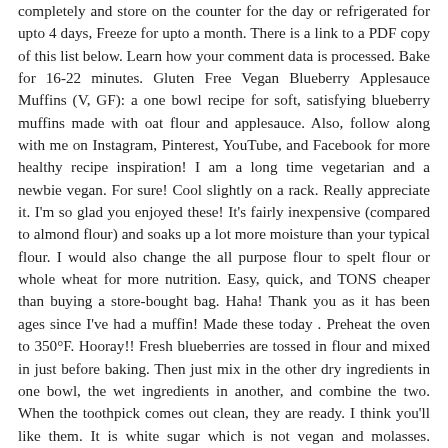completely and store on the counter for the day or refrigerated for upto 4 days, Freeze for upto a month. There is a link to a PDF copy of this list below. Learn how your comment data is processed. Bake for 16-22 minutes. Gluten Free Vegan Blueberry Applesauce Muffins (V, GF): a one bowl recipe for soft, satisfying blueberry muffins made with oat flour and applesauce. Also, follow along with me on Instagram, Pinterest, YouTube, and Facebook for more healthy recipe inspiration! I am a long time vegetarian and a newbie vegan. For sure! Cool slightly on a rack. Really appreciate it. I'm so glad you enjoyed these! It's fairly inexpensive (compared to almond flour) and soaks up a lot more moisture than your typical flour. I would also change the all purpose flour to spelt flour or whole wheat for more nutrition. Easy, quick, and TONS cheaper than buying a store-bought bag. Haha! Thank you as it has been ages since I've had a muffin! Made these today . Preheat the oven to 350°F. Hooray!! Fresh blueberries are tossed in flour and mixed in just before baking. Then just mix in the other dry ingredients in one bowl, the wet ingredients in another, and combine the two. When the toothpick comes out clean, they are ready. I think you'll like them. It is white sugar which is not vegan and molasses. Nutrient information is not available for all ingredients. I can confirm that this recipe does indeed work excellently as a loaf. Sprinkle generous streusel on the batter. Applesauce: unsweetened, please!The combination of flax eggs, applesauce, and cashew butter is what brings this recipe together